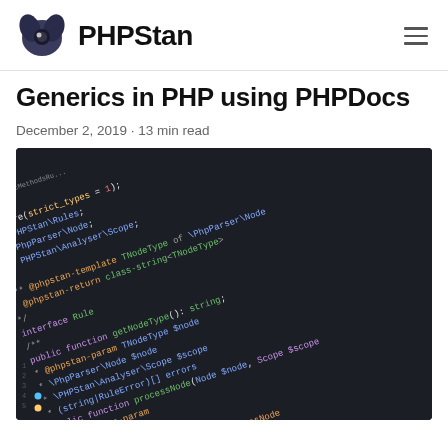PHPStan
Generics in PHP using PHPDocs
December 2, 2019 · 13 min read
[Figure (screenshot): Dark-theme code editor screenshot showing PHP code with PHPStan annotations including @phpstan-template, @phpstan-return, @phpstan-param, interface Rule, getNodeType(), processNode() with syntax highlighting in green, orange, and purple on a dark background.]